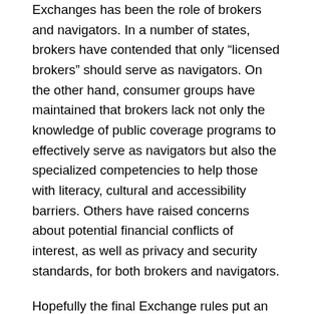Exchanges has been the role of brokers and navigators. In a number of states, brokers have contended that only “licensed brokers” should serve as navigators. On the other hand, consumer groups have maintained that brokers lack not only the knowledge of public coverage programs to effectively serve as navigators but also the specialized competencies to help those with literacy, cultural and accessibility barriers. Others have raised concerns about potential financial conflicts of interest, as well as privacy and security standards, for both brokers and navigators.
Hopefully the final Exchange rules put an end to this tug of war by providing a role for both brokers and other types to entities to assist consumers with eligibility and enrollment. So how do the final rules deal with these issues?